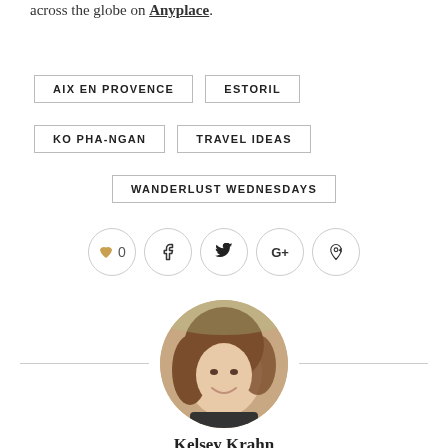across the globe on Anyplace.
AIX EN PROVENCE
ESTORIL
KO PHA-NGAN
TRAVEL IDEAS
WANDERLUST WEDNESDAYS
[Figure (infographic): Social sharing buttons: heart with 0 likes, Facebook, Twitter, Google+, Pinterest]
[Figure (photo): Circular profile photo of a smiling woman with long brown hair outdoors]
Kelsey Krahn